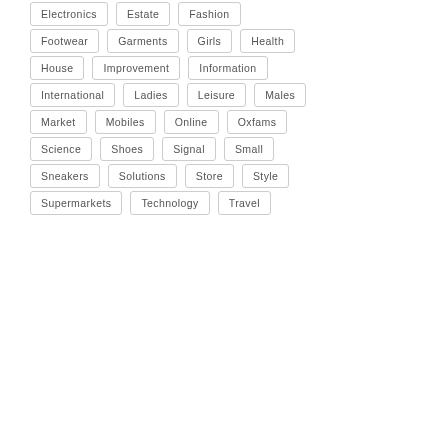Electronics
Estate
Fashion
Footwear
Garments
Girls
Health
House
Improvement
Information
International
Ladies
Leisure
Males
Market
Mobiles
Online
Oxfams
Science
Shoes
Signal
Small
Sneakers
Solutions
Store
Style
Supermarkets
Technology
Travel